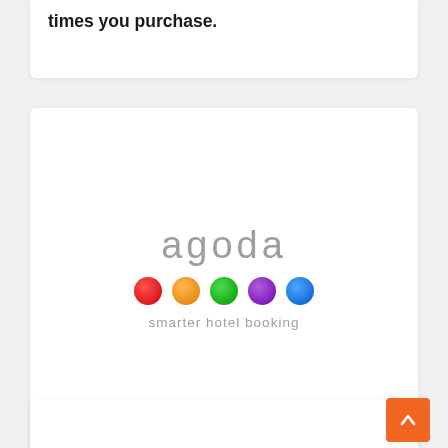times you purchase.
[Figure (logo): Agoda logo with colorful dots and tagline 'smarter hotel booking']
5% off any Tel Aviv hotel bookings